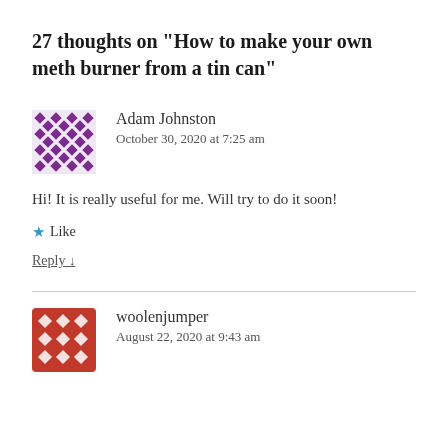27 thoughts on “How to make your own meth burner from a tin can”
[Figure (illustration): Purple diamond-pattern avatar for user Adam Johnston]
Adam Johnston
October 30, 2020 at 7:25 am
Hi! It is really useful for me. Will try to do it soon!
★ Like
Reply ↓
[Figure (illustration): Red diamond-pattern avatar for user woolenjumper]
woolenjumper
August 22, 2020 at 9:43 am